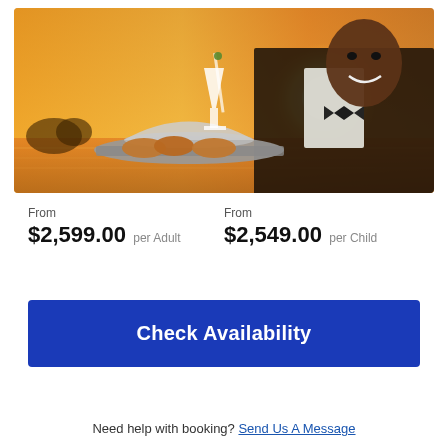[Figure (photo): A smiling waiter in a bow tie and vest holds a serving tray with food and a cocktail drink, with a golden sunset over water in the background.]
From
$2,599.00 per Adult
From
$2,549.00 per Child
Check Availability
Need help with booking? Send Us A Message